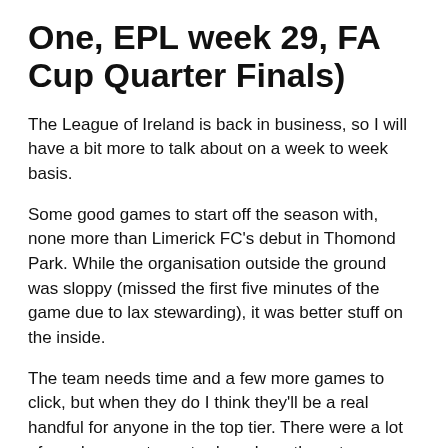One, EPL week 29, FA Cup Quarter Finals)
The League of Ireland is back in business, so I will have a bit more to talk about on a week to week basis.
Some good games to start off the season with, none more than Limerick FC's debut in Thomond Park. While the organisation outside the ground was sloppy (missed the first five minutes of the game due to lax stewarding), it was better stuff on the inside.
The team needs time and a few more games to click, but when they do I think they'll be a real handful for anyone in the top tier. There were a lot of good moments yesterday where they strung together some decent passing and made some good opportunities. Generally looked strong